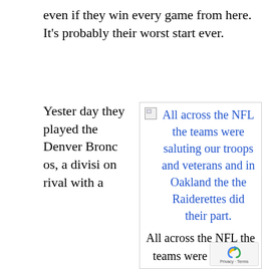even if they win every game from here. It's probably their worst start ever.
Yesterday they played the Denver Broncos, a division rival with a
[Figure (other): Broken image placeholder followed by a hyperlink/caption text in blue: 'All across the NFL the teams were saluting our troops and veterans and in Oakland the the Raiderettes did their part.']
All across the NFL the teams were saluting our troops and veterans and in Oakland the the Raiderettes did their part.